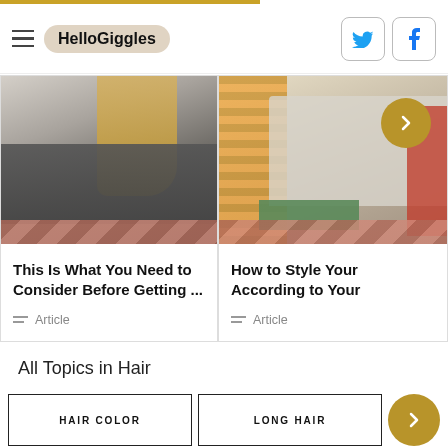HelloGiggles
[Figure (photo): Photo of woman at hair salon wearing gray cape, hairdresser working on her hair behind]
This Is What You Need to Consider Before Getting ...
Article
[Figure (photo): Photo of woman wearing striped shirt and white top with necklace, holding red jacket, with green backdrop; gold arrow circle overlay]
How to Style Your According to Your
Article
All Topics in Hair
HAIR COLOR
LONG HAIR